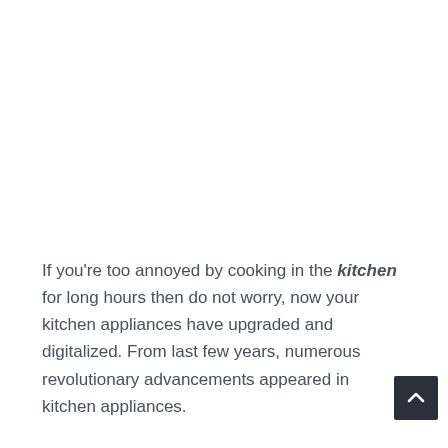If you're too annoyed by cooking in the kitchen for long hours then do not worry, now your kitchen appliances have upgraded and digitalized. From last few years, numerous revolutionary advancements appeared in kitchen appliances.